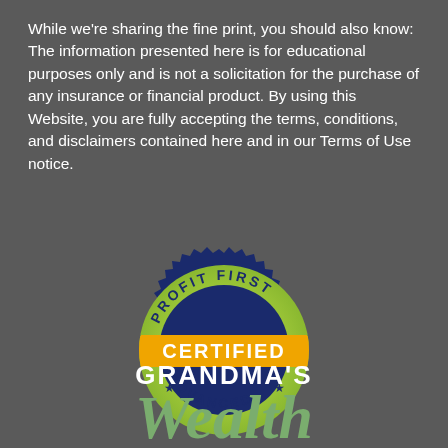While we're sharing the fine print, you should also know: The information presented here is for educational purposes only and is not a solicitation for the purchase of any insurance or financial product. By using this Website, you are fully accepting the terms, conditions, and disclaimers contained here and in our Terms of Use notice.
[Figure (logo): Profit First Certified Advanced badge — dark navy serrated circular badge with yellow-green gradient fill, orange horizontal band in the center with white bold text 'CERTIFIED', curved text 'PROFIT FIRST' at top and 'ADVANCED' at bottom with stars, all in dark navy on the green background.]
[Figure (logo): Grandma's Wealth logo — white bold sans-serif uppercase 'GRANDMA'S' above large green italic script 'Wealth']